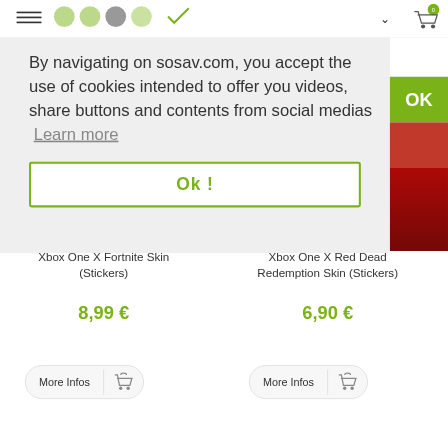[Figure (screenshot): Top navigation bar with cart icon showing 0 items, partial logo visible]
By navigating on sosav.com, you accept the use of cookies intended to offer you videos, share buttons and contents from social medias  Learn more
Ok !
OK
Xbox One X Fortnite Skin (Stickers)
8,99 €
More Infos
Xbox One X Red Dead Redemption Skin (Stickers)
6,90 €
More Infos